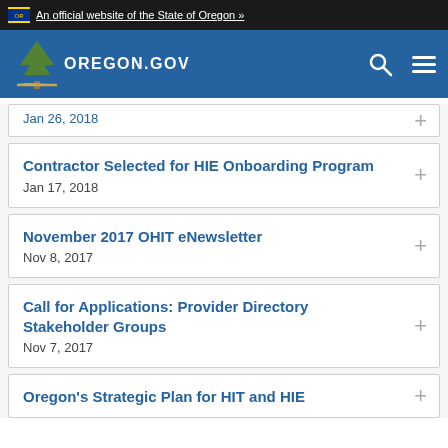An official website of the State of Oregon »
[Figure (logo): Oregon.gov logo with pine tree on blue navigation bar]
Jan 26, 2018
Contractor Selected for HIE Onboarding Program
Jan 17, 2018
November 2017 OHIT eNewsletter
Nov 8, 2017
Call for Applications: Provider Directory Stakeholder Groups
Nov 7, 2017
Oregon's Strategic Plan for HIT and HIE